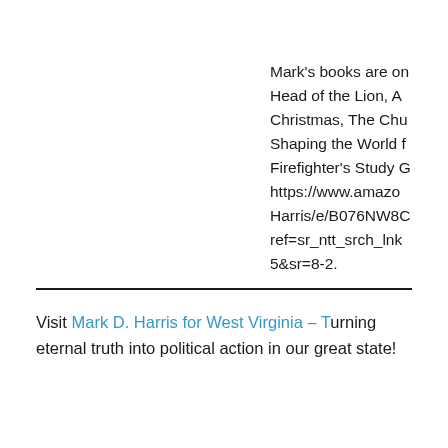Mark's books are on Head of the Lion, A Christmas, The Chu Shaping the World f Firefighter's Study C https://www.amazo Harris/e/B076NW8C ref=sr_ntt_srch_lnk 5&sr=8-2.
Visit Mark D. Harris for West Virginia – Turning eternal truth into political action in our great state!